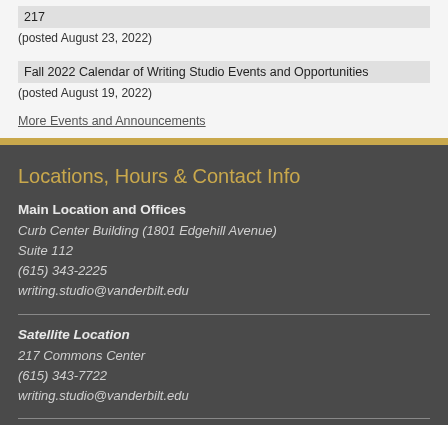217
(posted August 23, 2022)
Fall 2022 Calendar of Writing Studio Events and Opportunities
(posted August 19, 2022)
More Events and Announcements
Locations, Hours & Contact Info
Main Location and Offices
Curb Center Building (1801 Edgehill Avenue)
Suite 112
(615) 343-2225
writing.studio@vanderbilt.edu
Satellite Location
217 Commons Center
(615) 343-7722
writing.studio@vanderbilt.edu